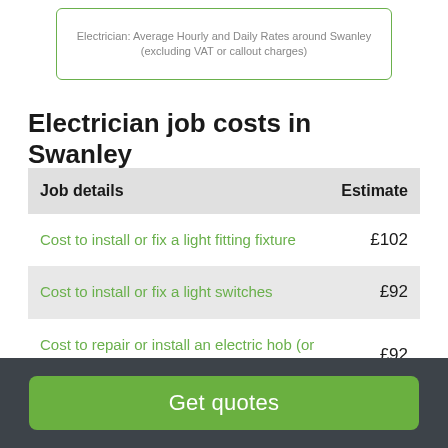Electrician: Average Hourly and Daily Rates around Swanley (excluding VAT or callout charges)
Electrician job costs in Swanley
| Job details | Estimate |
| --- | --- |
| Cost to install or fix a light fitting fixture | £102 |
| Cost to install or fix a light switches | £92 |
| Cost to repair or install an electric hob (or an induction hob) | £92 |
Get quotes